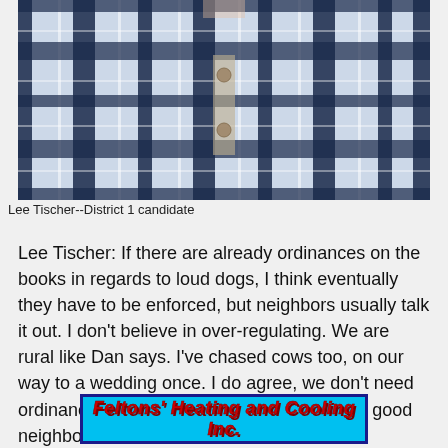[Figure (photo): Close-up photo of a person wearing a blue and white plaid/checkered button-up shirt, cropped to show the torso area]
Lee Tischer--District 1 candidate
Lee Tischer: If there are already ordinances on the books in regards to loud dogs, I think eventually they have to be enforced, but neighbors usually talk it out. I don't believe in over-regulating. We are rural like Dan says. I've chased cows too, on our way to a wedding once. I do agree, we don't need ordinances for everything but we have to be good neighbors to one another.
[Figure (logo): Advertisement for Feltons' Heating and Cooling Inc. with red bold italic text on cyan/blue background with dark blue border]